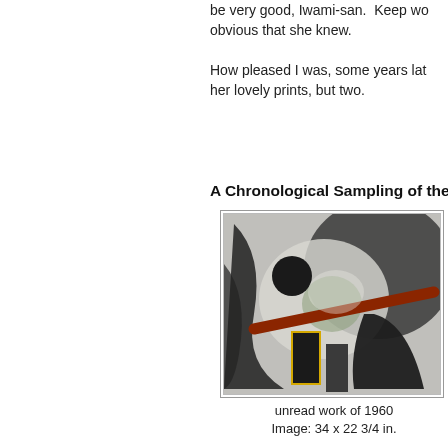be very good, Iwami-san.  Keep wo obvious that she knew.
How pleased I was, some years lat her lovely prints, but two.
A Chronological Sampling of the A
[Figure (illustration): Abstract woodblock print artwork, featuring dark curved shapes, a black circle, a diagonal red/brown stripe, and geometric black forms against a grey-white background with green accents.]
unread work of 1960
Image: 34 x 22 3/4 in.